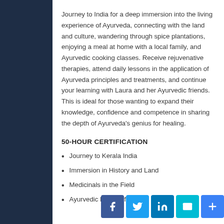Journey to India for a deep immersion into the living experience of Ayurveda, connecting with the land and culture, wandering through spice plantations, enjoying a meal at home with a local family, and Ayurvedic cooking classes. Receive rejuvenative therapies, attend daily lessons in the application of Ayurveda principles and treatments, and continue your learning with Laura and her Ayurvedic friends. This is ideal for those wanting to expand their knowledge, confidence and competence in sharing the depth of Ayurveda's genius for healing.
50-HOUR CERTIFICATION
Journey to Kerala India
Immersion in History and Land
Medicinals in the Field
Ayurvedic Healing first Hand